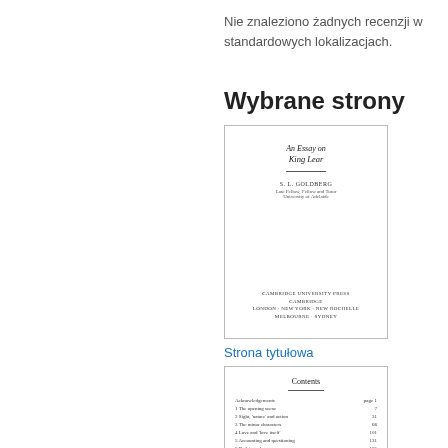Nie znaleziono żadnych recenzji w standardowych lokalizacjach.
Wybrane strony
[Figure (illustration): Thumbnail of book title page: 'An Essay on King Lear' by S.L. Goldberg, Cambridge University Press]
Strona tytułowa
[Figure (illustration): Thumbnail of book contents page showing chapter listing with page numbers]